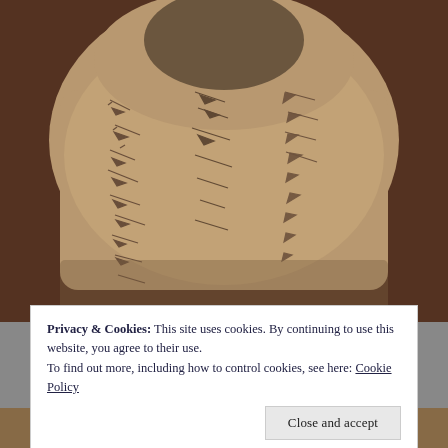[Figure (photo): Close-up photograph of an ancient cuneiform clay tablet with inscribed wedge-shaped markings arranged in columns, set against a dark brownish-red fabric background.]
Privacy & Cookies: This site uses cookies. By continuing to use this website, you agree to their use.
To find out more, including how to control cookies, see here: Cookie Policy
Close and accept
[Figure (photo): Partial view of another ancient clay tablet or artifact at the bottom of the page.]